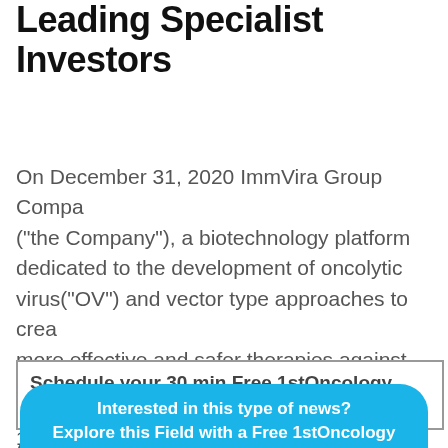Leading Specialist Investors
On December 31, 2020 ImmVira Group Company ("the Company"), a biotechnology platform dedicated to the development of oncolytic virus("OV") and vector type approaches to create more effective and safer therapies against cancer, reported the signing of Series C financing (Press release, Immvira, DEC 31, 2020, View Source [SID12345733361]).
Schedule your 30 min Free 1stOncology Demo
Interested in this type of news?
Explore this Field with a Free 1stOncology Demo!
1stOncology™ to excel in: